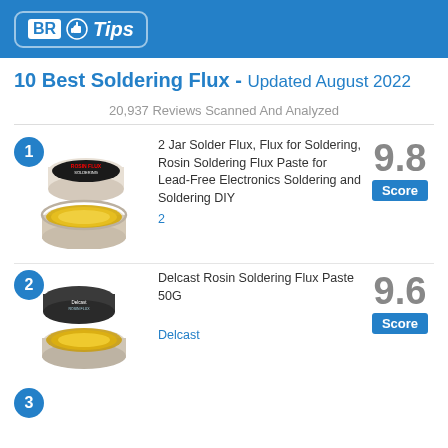[Figure (logo): BR Tips logo with blue thumbs-up icon on blue rounded rectangle background]
10 Best Soldering Flux - Updated August 2022
20,937 Reviews Scanned And Analyzed
[Figure (photo): Product #1: Two jars of rosin soldering flux paste, stacked, one closed on top and one open showing yellow paste below]
2 Jar Solder Flux, Flux for Soldering, Rosin Soldering Flux Paste for Lead-Free Electronics Soldering and Soldering DIY
2
9.8 Score
[Figure (photo): Product #2: Single open jar of Delcast Rosin Soldering Flux Paste 50G showing yellow paste]
Delcast Rosin Soldering Flux Paste 50G
Delcast
9.6 Score